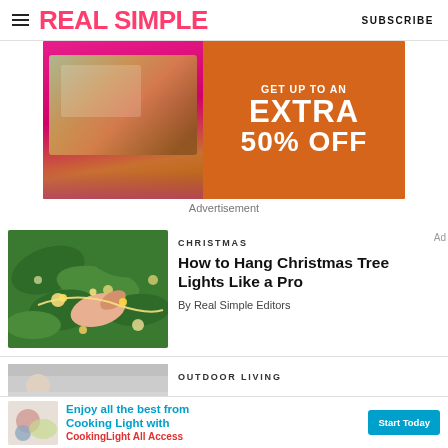REAL SIMPLE | SUBSCRIBE
[Figure (photo): Advertisement banner for Real Simple magazine subscription: image of outdoor furniture on left pink background, orange circle on right with text 'GET UP TO AN EXTRA 50% OFF']
Advertisement
[Figure (photo): Photo of hands hanging Christmas tree lights on a pine tree branch with bokeh light effect]
CHRISTMAS
How to Hang Christmas Tree Lights Like a Pro
By Real Simple Editors
OUTDOOR LIVING
[Figure (photo): Bottom advertisement banner: Enjoy all the best from Cooking Light with CookingLight All Access — Start Today button]